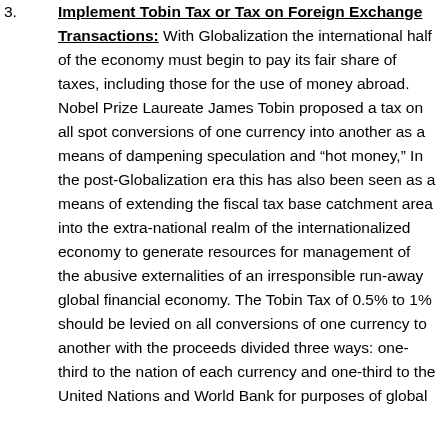Implement Tobin Tax or Tax on Foreign Exchange Transactions: With Globalization the international half of the economy must begin to pay its fair share of taxes, including those for the use of money abroad. Nobel Prize Laureate James Tobin proposed a tax on all spot conversions of one currency into another as a means of dampening speculation and “hot money,” In the post-Globalization era this has also been seen as a means of extending the fiscal tax base catchment area into the extra-national realm of the internationalized economy to generate resources for management of the abusive externalities of an irresponsible run-away global financial economy. The Tobin Tax of 0.5% to 1% should be levied on all conversions of one currency to another with the proceeds divided three ways: one-third to the nation of each currency and one-third to the United Nations and World Bank for purposes of global